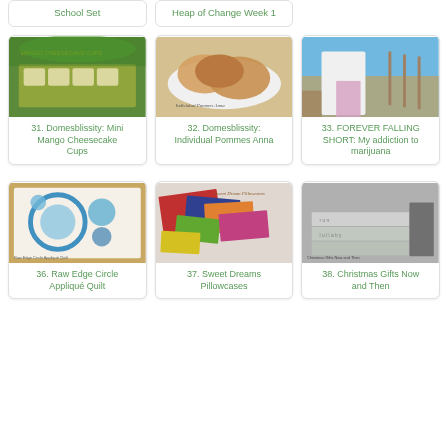School Set
Heap of Change Week 1
[Figure (photo): Mango cheesecake cups on a green leaf background]
31. Domesblissity: Mini Mango Cheesecake Cups
[Figure (photo): Individual Pommes Anna on a white plate]
32. Domesblissity: Individual Pommes Anna
[Figure (photo): Person standing on beach boardwalk in patterned skirt]
33. FOREVER FALLING SHORT: My addiction to marijuana
[Figure (photo): Raw edge circle applique quilt on wooden floor]
36. Raw Edge Circle Appliqué Quilt
[Figure (photo): Sweet Dreams pillowcases fabric pile with colorful fabrics]
37. Sweet Dreams Pillowcases
[Figure (photo): Christmas gifts – folded grey towels/fabrics]
38. Christmas Gifts Now and Then